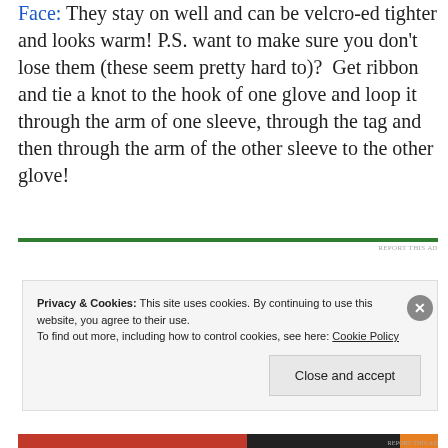Face: They stay on well and can be velcro-ed tighter and looks warm! P.S. want to make sure you don't lose them (these seem pretty hard to)?  Get ribbon and tie a knot to the hook of one glove and loop it through the arm of one sleeve, through the tag and then through the arm of the other sleeve to the other glove!
[Figure (other): Green horizontal divider line with 'REPORT THIS AD' text on right]
Privacy & Cookies: This site uses cookies. By continuing to use this website, you agree to their use.
To find out more, including how to control cookies, see here: Cookie Policy
Close and accept